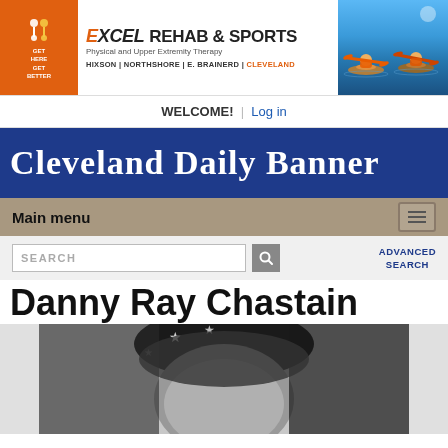[Figure (illustration): Excel Rehab & Sports advertisement banner with orange left panel, text in middle, and photo of kayakers on right]
WELCOME! | Log in
[Figure (logo): Cleveland Daily Banner newspaper masthead in blue background with white Old English style lettering]
Main menu
SEARCH  ADVANCED SEARCH
Danny Ray Chastain
[Figure (photo): Black and white photograph of Danny Ray Chastain, a man wearing what appears to be a patriotic hat with stars]